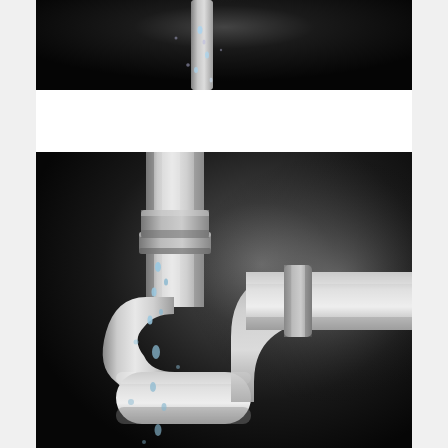[Figure (photo): Top partial image showing water drops falling in dark background, appears to be a plumbing/water leak scene, cropped at top]
[Figure (photo): Close-up photo of white PVC plumbing pipes forming a P-trap (U-bend) with water dripping/leaking from the joints, dark background]
If you're creating a brand new house or even redesigning your own current house, you simply may want to think about heading 'green' along with plumbing related within Android...